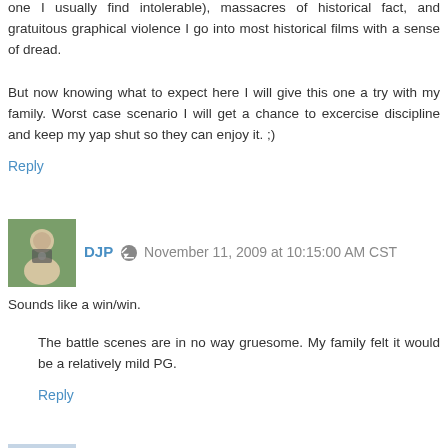one I usually find intolerable), massacres of historical fact, and gratuitous graphical violence I go into most historical films with a sense of dread.
But now knowing what to expect here I will give this one a try with my family. Worst case scenario I will get a chance to excercise discipline and keep my yap shut so they can enjoy it. ;)
Reply
DJP  November 11, 2009 at 10:15:00 AM CST
Sounds like a win/win.
The battle scenes are in no way gruesome. My family felt it would be a relatively mild PG.
Reply
Susan  November 11, 2009 at 12:26:00 PM CST
1. Ten sixty-six...hmm. Without cheating and reading the